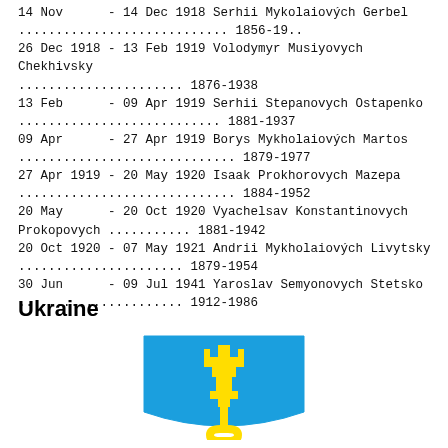14 Nov      - 14 Dec 1918 Serhii Mykolaiových Gerbel ...................... 1856-19..
26 Dec 1918 - 13 Feb 1919 Volodymyr Musiyovych Chekhivsky ................ 1876-1938
13 Feb      - 09 Apr 1919 Serhii Stepanovych Ostapenko ..................... 1881-1937
09 Apr      - 27 Apr 1919 Borys Mykholaiových Martos ...................... 1879-1977
27 Apr 1919 - 20 May 1920 Isaak Prokhorovych Mazepa ...................... 1884-1952
20 May      - 20 Oct 1920 Vyachelsav Konstantinovych Prokopovych ......... 1881-1942
20 Oct 1920 - 07 May 1921 Andrii Mykholaiových Livytsky .................. 1879-1954
30 Jun      - 09 Jul 1941 Yaroslav Semyonovych Stetsko ................... 1912-1986
Ukraine
[Figure (illustration): Coat of arms of Ukraine: a blue shield-shaped emblem with a yellow trident symbol in the center]